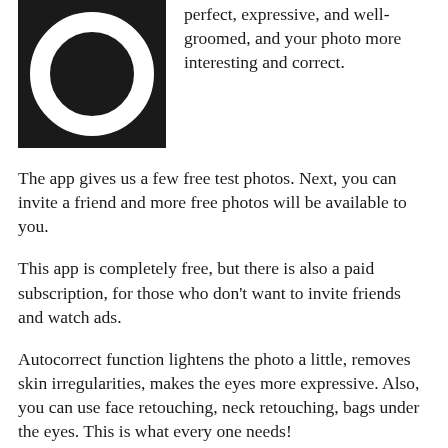[Figure (logo): App icon with white circle/ring on black background]
perfect, expressive, and well-groomed, and your photo more interesting and correct.
The app gives us a few free test photos. Next, you can invite a friend and more free photos will be available to you.
This app is completely free, but there is also a paid subscription, for those who don't want to invite friends and watch ads.
Autocorrect function lightens the photo a little, removes skin irregularities, makes the eyes more expressive. Also, you can use face retouching, neck retouching, bags under the eyes. This is what every one needs!